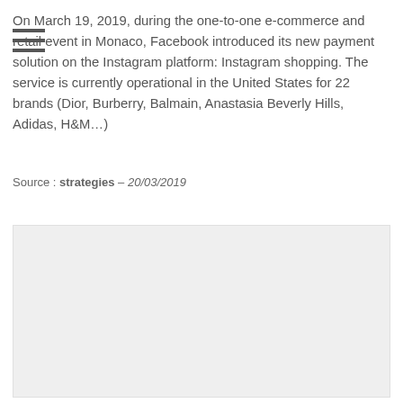On March 19, 2019, during the one-to-one e-commerce and retail event in Monaco, Facebook introduced its new payment solution on the Instagram platform: Instagram shopping. The service is currently operational in the United States for 22 brands (Dior, Burberry, Balmain, Anastasia Beverly Hills, Adidas, H&M…)
Source : strategies – 20/03/2019
[Figure (photo): Gray placeholder image area]